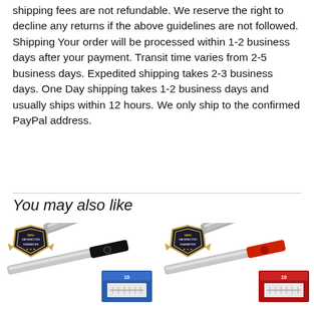shipping fees are not refundable. We reserve the right to decline any returns if the above guidelines are not followed. Shipping Your order will be processed within 1-2 business days after your payment. Transit time varies from 2-5 business days. Expedited shipping takes 2-3 business days. One Day shipping takes 1-2 business days and usually ships within 12 hours. We only ship to the confirmed PayPal address.
You may also like
[Figure (photo): Product photo of a straight razor with black handle, a satisfaction guarantee badge, and a box of razor blades]
[Figure (photo): Product photo of a straight razor with red handle, a satisfaction guarantee badge, and a box of razor blades]